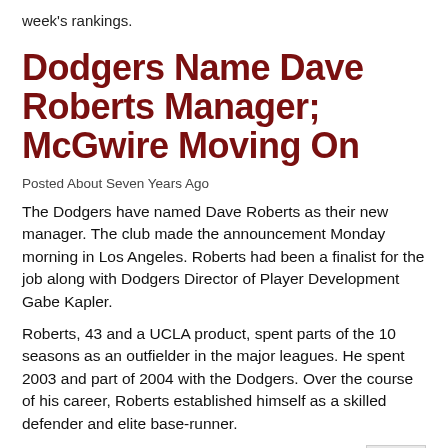week's rankings.
Dodgers Name Dave Roberts Manager; McGwire Moving On
Posted About Seven Years Ago
The Dodgers have named Dave Roberts as their new manager. The club made the announcement Monday morning in Los Angeles. Roberts had been a finalist for the job along with Dodgers Director of Player Development Gabe Kapler.
Roberts, 43 and a UCLA product, spent parts of the 10 seasons as an outfielder in the major leagues. He spent 2003 and part of 2004 with the Dodgers. Over the course of his career, Roberts established himself as a skilled defender and elite base-runner.
Since retiring as a player, Roberts has